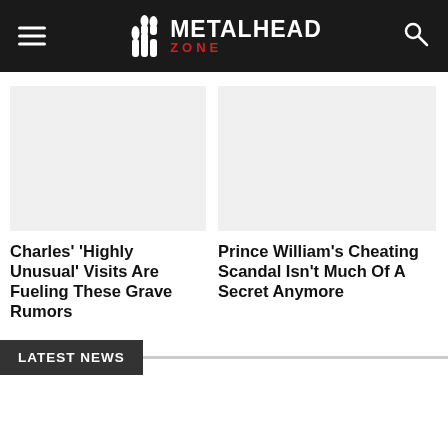METALHEAD ZONE
Charles' 'Highly Unusual' Visits Are Fueling These Grave Rumors
Prince William's Cheating Scandal Isn't Much Of A Secret Anymore
LATEST NEWS